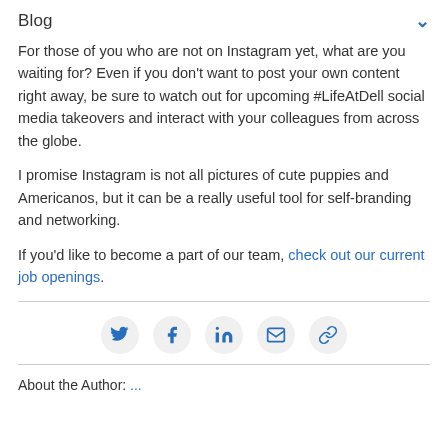Blog
For those of you who are not on Instagram yet, what are you waiting for? Even if you don't want to post your own content right away, be sure to watch out for upcoming #LifeAtDell social media takeovers and interact with your colleagues from across the globe.
I promise Instagram is not all pictures of cute puppies and Americanos, but it can be a really useful tool for self-branding and networking.
If you'd like to become a part of our team, check out our current job openings.
[Figure (infographic): Social share icons row: Twitter, Facebook, LinkedIn, Email, Link — each in a light gray circle]
About the Author: